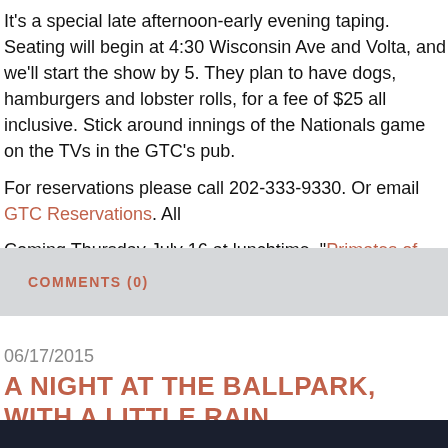It's a special late afternoon-early evening taping. Seating will begin at 4:30 Wisconsin Ave and Volta, and we'll start the show by 5. They plan to have dogs, hamburgers and lobster rolls, for a fee of $25 all inclusive. Stick around innings of the Nationals game on the TVs in the GTC's pub.
For reservations please call 202-333-9330. Or email GTC Reservations. All
Coming Thursday July 16 at lunchtime, "Primates of Park Avenue" author
COMMENTS (0)
06/17/2015
A NIGHT AT THE BALLPARK, WITH A LITTLE RAIN